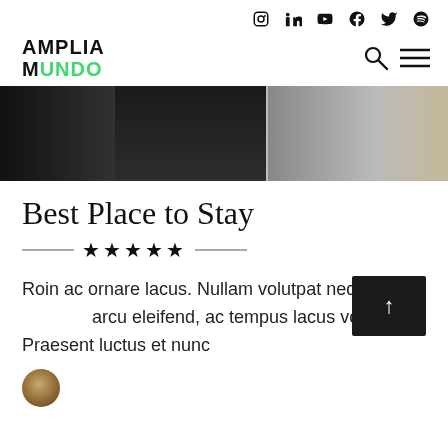Social media icons: Instagram, LinkedIn, YouTube, Facebook, Twitter, Spotify
[Figure (logo): AMPLIA MUNDO logo with AMPLIA in black bold and MUNDO in green bold]
[Figure (photo): Hero photo of a person in dark suit in a hotel/bedroom setting]
Best Place to Stay
[Figure (other): Five black stars with horizontal lines on each side as a decorative divider]
Roin ac ornare lacus. Nullam volutpat neque arcu eleifend, ac tempus lacus volutpat. Praesent luctus et nunc
[Figure (other): Black back-to-top button with upward arrow icon]
[Figure (photo): Circular avatar/author photo at the bottom of the article]